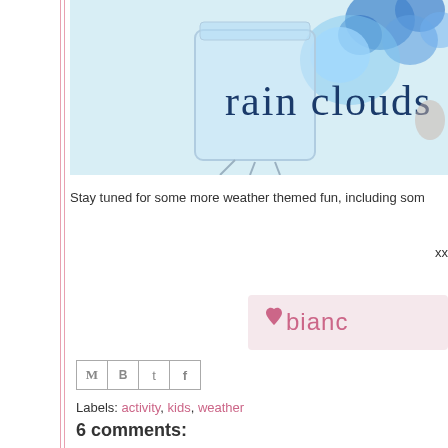[Figure (photo): Photo of a glass jar with blue balloon/flowers decoration and text 'rain clouds' overlaid in dark blue serif font]
Stay tuned for some more weather themed fun, including som
xx
[Figure (logo): Signature logo reading 'bianca' with a pink heart icon]
[Figure (screenshot): Social sharing icons: email (M), Blogger (B), Twitter (t), Facebook (f)]
Labels: activity, kids, weather
6 comments: